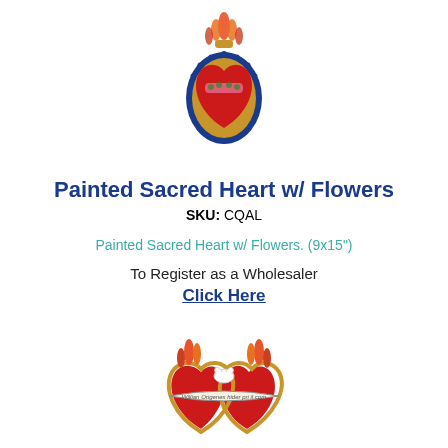[Figure (photo): Painted Sacred Heart ornament with blue border, red heart, flowers, and orange flame on top]
Painted Sacred Heart w/ Flowers
SKU: CQAL
Painted Sacred Heart w/ Flowers. (9x15")
To Register as a Wholesaler
Click Here
[Figure (photo): Two red sacred hearts joined together with gold border, flames, a dove, and a banner with text]